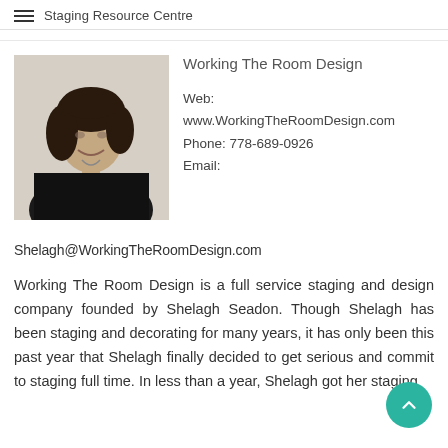Staging Resource Centre
Working The Room Design
Web: www.WorkingTheRoomDesign.com
Phone: 778-689-0926
Email:
[Figure (photo): Portrait photo of a woman with dark curly hair wearing a black top, smiling, photographed in black and white style]
Shelagh@WorkingTheRoomDesign.com
Working The Room Design is a full service staging and design company founded by Shelagh Seadon. Though Shelagh has been staging and decorating for many years, it has only been this past year that Shelagh finally decided to get serious and commit to staging full time. In less than a year, Shelagh got her staging